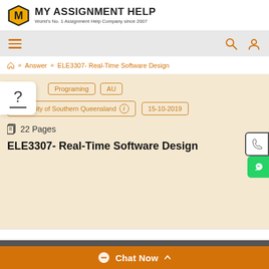MY ASSIGNMENT HELP — World's No. 1 Assignment Help Company since 2007
[Figure (screenshot): Navigation bar with hamburger menu, search icon, and user icon]
Answer >> ELE3307- Real-Time Software Design
Programing | AU
University of Southern Queensland | 15-10-2019
22 Pages
ELE3307- Real-Time Software Design
Chat Now